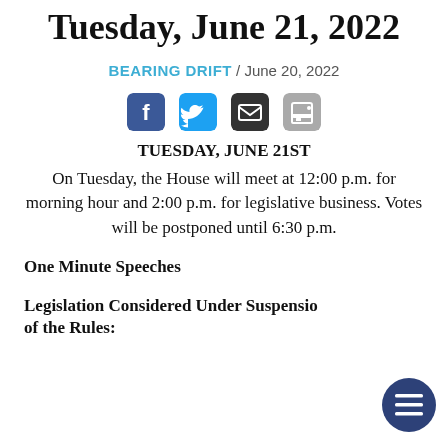Tuesday, June 21, 2022
BEARING DRIFT / June 20, 2022
[Figure (other): Social sharing icons: Facebook, Twitter, Email, Print]
TUESDAY, JUNE 21ST
On Tuesday, the House will meet at 12:00 p.m. for morning hour and 2:00 p.m. for legislative business. Votes will be postponed until 6:30 p.m.
One Minute Speeches
Legislation Considered Under Suspension of the Rules: